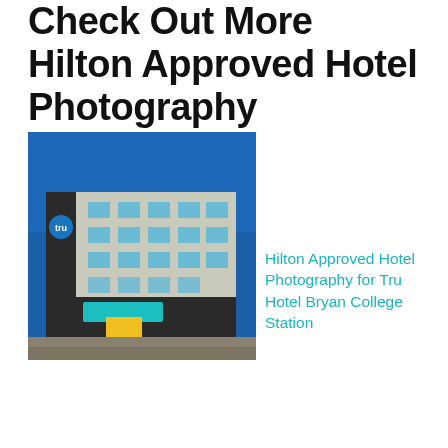Check Out More Hilton Approved Hotel Photography
[Figure (photo): Exterior nighttime photo of a Tru by Hilton hotel building with blue sky, multi-story facade, teal canopy entrance, and yellow accent colors at the entrance.]
Hilton Approved Hotel Photography for Tru Hotel Bryan College Station